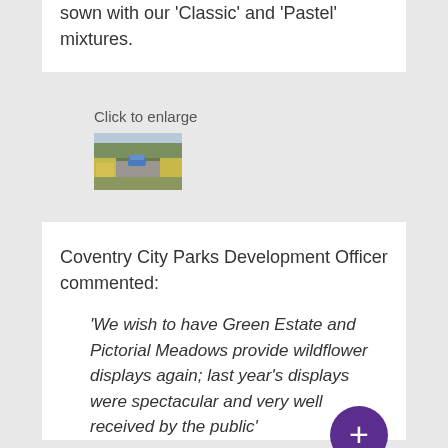sown with our ‘Classic’ and ‘Pastel’ mixtures.
Click to enlarge
[Figure (photo): Thumbnail photo of a road or path lined with wildflowers in yellow and white, with a car visible in the background]
Coventry City Parks Development Officer commented:
‘We wish to have Green Estate and Pictorial Meadows provide wildflower displays again; last year’s displays were spectacular and very well received by the public’